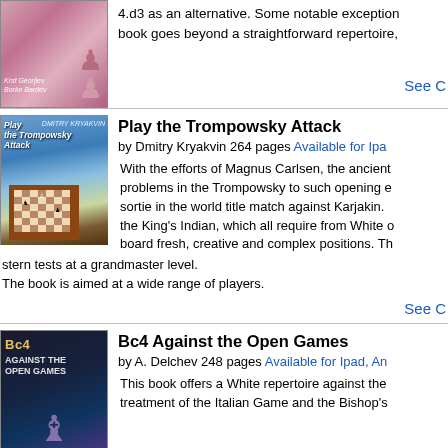4.d3 as an alternative. Some notable exception book goes beyond a straightforward repertoire,
See C
Play the Trompowsky Attack
by Dmitry Kryakvin 264 pages Available for Ipad
With the efforts of Magnus Carlsen, the ancient problems in the Trompowsky to such opening e sortie in the world title match against Karjakin. the King's Indian, which all require from White board fresh, creative and complex positions. Th stern tests at a grandmaster level. The book is aimed at a wide range of players.
See C
Bc4 Against the Open Games
by A. Delchev 248 pages Available for Ipad, An
This book offers a White repertoire against the treatment of the Italian Game and the Bishop's